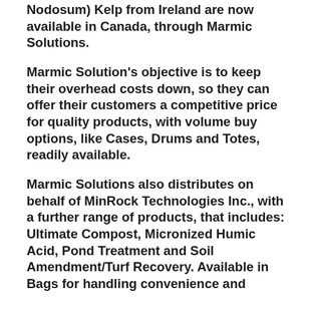Nodosum) Kelp from Ireland are now available in Canada, through Marmic Solutions.
Marmic Solution's objective is to keep their overhead costs down, so they can offer their customers a competitive price for quality products, with volume buy options, like Cases, Drums and Totes, readily available.
Marmic Solutions also distributes on behalf of MinRock Technologies Inc., with a further range of products, that includes: Ultimate Compost, Micronized Humic Acid, Pond Treatment and Soil Amendment/Turf Recovery. Available in Bags for handling convenience and